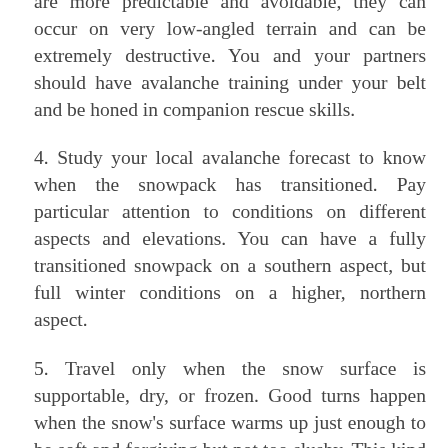slab and wet loose avalanches. Even though these are more predictable and avoidable, they can occur on very low-angled terrain and can be extremely destructive. You and your partners should have avalanche training under your belt and be honed in companion rescue skills.
4. Study your local avalanche forecast to know when the snowpack has transitioned. Pay particular attention to conditions on different aspects and elevations. You can have a fully transitioned snowpack on a southern aspect, but full winter conditions on a higher, northern aspect.
5. Travel only when the snow surface is supportable, dry, or frozen. Good turns happen when the snow's surface warms up just enough to be soft and forgiving but not too slushy. This kind of snow is called corn. Good corn conditions will often present only during a short timeframe.
6. Maximize travel time when the snowpack is frozen